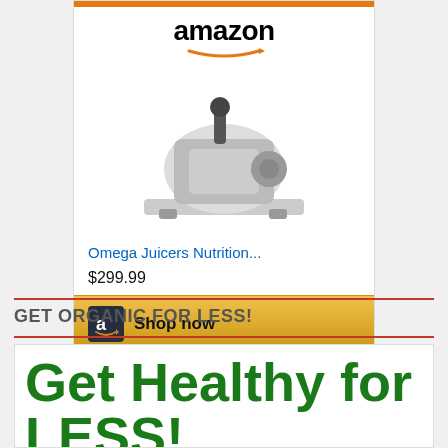[Figure (screenshot): Amazon product ad card showing an Omega Juicer with Amazon logo, product image, title 'Omega Juicers Nutrition...', price $299.99, and a 'Shop now' button with gradient yellow background]
GET ORGANIC FOR LESS!
[Figure (screenshot): Promotional banner with white background showing 'Get Healthy for LESS!' in large bold dark green text, a green button, and '5% OFF' text partially visible]